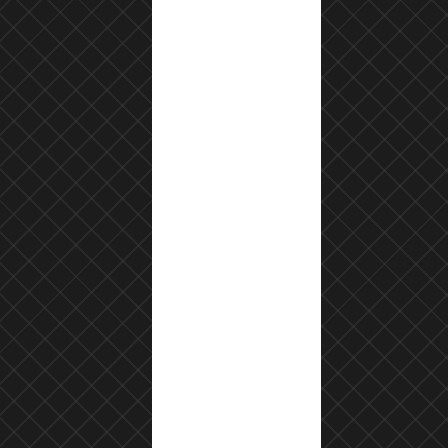on and beyond the ability of our senses to perceive. So we have no way of imagining God and no way of discovering Him with our material senses. So no one can